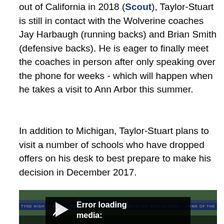out of California in 2018 (Scout), Taylor-Stuart is still in contact with the Wolverine coaches Jay Harbaugh (running backs) and Brian Smith (defensive backs). He is eager to finally meet the coaches in person after only speaking over the phone for weeks - which will happen when he takes a visit to Ann Arbor this summer.
In addition to Michigan, Taylor-Stuart plans to visit a number of schools who have dropped offers on his desk to best prepare to make his decision in December 2017.
[Figure (photo): Football stadium scene at night with players on the field and stadium banner visible. A video player overlay shows 'Error loading media:' with a play button icon.]